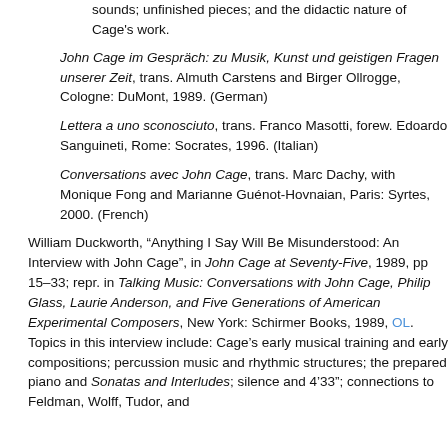sounds; unfinished pieces; and the didactic nature of Cage's work.
John Cage im Gespräch: zu Musik, Kunst und geistigen Fragen unserer Zeit, trans. Almuth Carstens and Birger Ollrogge, Cologne: DuMont, 1989. (German)
Lettera a uno sconosciuto, trans. Franco Masotti, forew. Edoardo Sanguineti, Rome: Socrates, 1996. (Italian)
Conversations avec John Cage, trans. Marc Dachy, with Monique Fong and Marianne Guénot-Hovnaian, Paris: Syrtes, 2000. (French)
William Duckworth, "Anything I Say Will Be Misunderstood: An Interview with John Cage", in John Cage at Seventy-Five, 1989, pp 15-33; repr. in Talking Music: Conversations with John Cage, Philip Glass, Laurie Anderson, and Five Generations of American Experimental Composers, New York: Schirmer Books, 1989, OL. Topics in this interview include: Cage's early musical training and early compositions; percussion music and rhythmic structures; the prepared piano and Sonatas and Interludes; silence and 4'33"; connections to Feldman, Wolff, Tudor, and